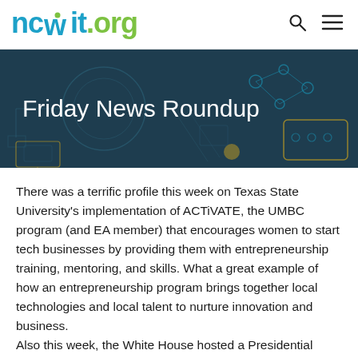ncwit.org
[Figure (illustration): Friday News Roundup banner with dark teal background and technology circuit/device line art illustrations]
Friday News Roundup
There was a terrific profile this week on Texas State University's implementation of ACTiVATE, the UMBC program (and EA member) that encourages women to start tech businesses by providing them with entrepreneurship training, mentoring, and skills. What a great example of how an entrepreneurship program brings together local technologies and local talent to nurture innovation and business. Also this week, the White House hosted a Presidential